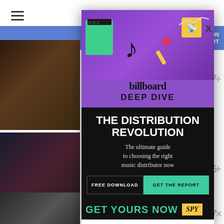[Figure (screenshot): Background of a website page with hamburger menu icon, blue navigation bar, artist photos on the left side, and numbers/plus icons on the right side]
[Figure (infographic): Billboard Deep Dive advertisement modal with purple top section showing TikTok-themed illustration, billboard logo, DEEP DIVE text, black bottom section with THE DISTRIBUTION REVOLUTION headline, subtitle text, FREE DOWNLOAD and GET THE REPORT buttons, and GET YOURS NOW text at bottom]